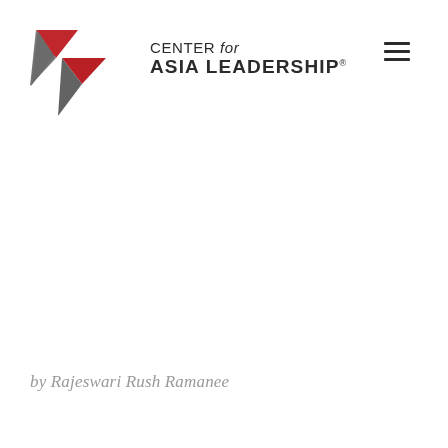[Figure (logo): Center for Asia Leadership logo with red and grey angular arrow/chevron icon on the left and text 'CENTER for ASIA LEADERSHIP' on the right]
by Rajeswari Rush Ramanee